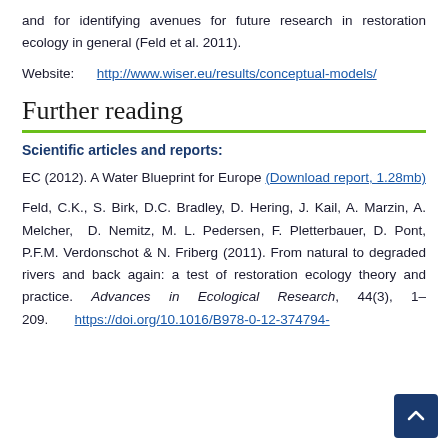and for identifying avenues for future research in restoration ecology in general (Feld et al. 2011).
Website: http://www.wiser.eu/results/conceptual-models/
Further reading
Scientific articles and reports:
EC (2012). A Water Blueprint for Europe (Download report, 1.28mb)
Feld, C.K., S. Birk, D.C. Bradley, D. Hering, J. Kail, A. Marzin, A. Melcher, D. Nemitz, M. L. Pedersen, F. Pletterbauer, D. Pont, P.F.M. Verdonschot & N. Friberg (2011). From natural to degraded rivers and back again: a test of restoration ecology theory and practice. Advances in Ecological Research, 44(3), 1– 209. https://doi.org/10.1016/B978-0-12-374794-